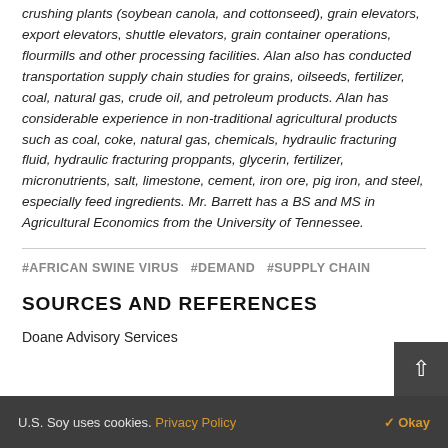crushing plants (soybean canola, and cottonseed), grain elevators, export elevators, shuttle elevators, grain container operations, flourmills and other processing facilities. Alan also has conducted transportation supply chain studies for grains, oilseeds, fertilizer, coal, natural gas, crude oil, and petroleum products. Alan has considerable experience in non-traditional agricultural products such as coal, coke, natural gas, chemicals, hydraulic fracturing fluid, hydraulic fracturing proppants, glycerin, fertilizer, micronutrients, salt, limestone, cement, iron ore, pig iron, and steel, especially feed ingredients. Mr. Barrett has a BS and MS in Agricultural Economics from the University of Tennessee.
#AFRICAN SWINE VIRUS   #DEMAND   #SUPPLY CHAIN
SOURCES AND REFERENCES
Doane Advisory Services
U.S. Soy uses cookies. Privacy Policy  ✓ Okay